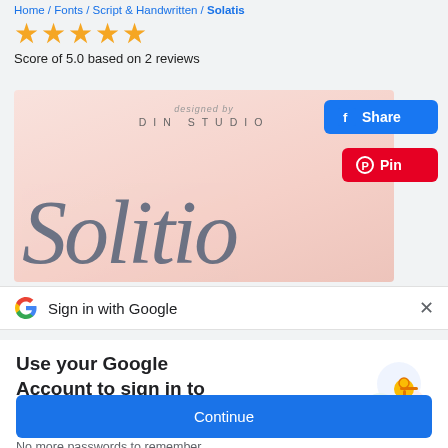Home / Fonts / Script & Handwritten / Solatis
★★★★★ Score of 5.0 based on 2 reviews
[Figure (screenshot): Font preview image with pink background showing 'designed by DIN STUDIO' text and a cursive script font sample]
Share
Pin
Sign in with Google
Use your Google Account to sign in to creativefabrica.com
No more passwords to remember. Signing in is fast, simple and secure.
Continue